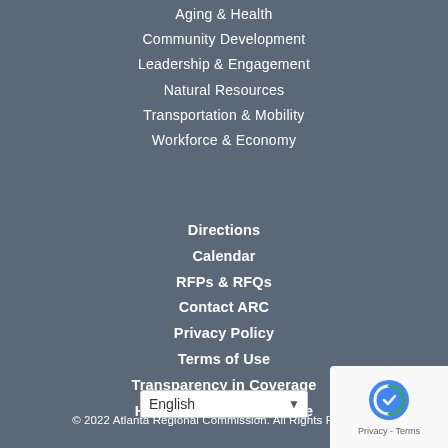Aging & Health
Community Development
Leadership & Engagement
Natural Resources
Transportation & Mobility
Workforce & Economy
Directions
Calendar
RFPs & RFQs
Contact ARC
Privacy Policy
Terms of Use
Transparency in Coverage
Human Trafficking Notice
English
© 2022 Atlanta Regional Commission. All Rights Reserved